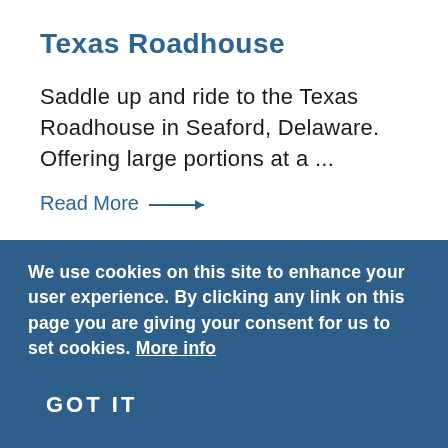Texas Roadhouse
Saddle up and ride to the Texas Roadhouse in Seaford, Delaware. Offering large portions at a ...
Read More →
[Figure (photo): Photo of a Texas Roadhouse restaurant building showing a terracotta tile roof against a blue sky background]
We use cookies on this site to enhance your user experience. By clicking any link on this page you are giving your consent for us to set cookies. More info
GOT IT